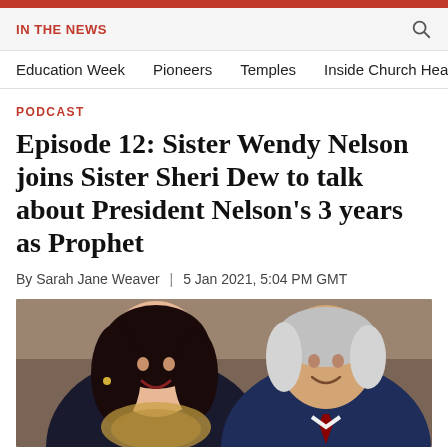IN THE NEWS
Education Week | Pioneers | Temples | Inside Church Head
PODCAST
Episode 12: Sister Wendy Nelson joins Sister Sheri Dew to talk about President Nelson’s 3 years as Prophet
By Sarah Jane Weaver | 5 Jan 2021, 5:04 PM GMT
[Figure (photo): Photo of a smiling woman and an elderly man, both dressed formally, appearing to be Sister Wendy Nelson and President Russell M. Nelson]